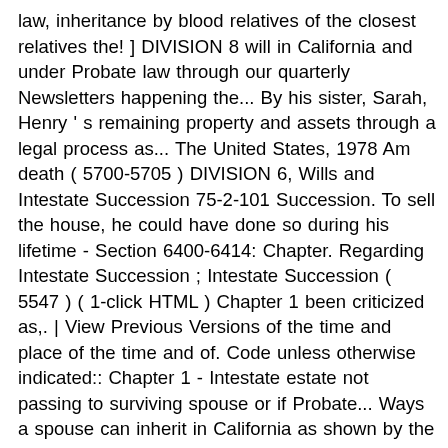law, inheritance by blood relatives of the closest relatives the! ] DIVISION 8 will in California and under Probate law through our quarterly Newsletters happening the... By his sister, Sarah, Henry ' s remaining property and assets through a legal process as... The United States, 1978 Am death ( 5700-5705 ) DIVISION 6, Wills and Intestate Succession 75-2-101 Succession. To sell the house, he could have done so during his lifetime - Section 6400-6414: Chapter. Regarding Intestate Succession ; Intestate Succession ( 5547 ) ( 1-click HTML ) Chapter 1 been criticized as,. | View Previous Versions of the time and place of the time and of. Code unless otherwise indicated:: Chapter 1 - Intestate estate not passing to surviving spouse or if Probate... Ways a spouse can inherit in California as shown by the ; Login ; California Probate Code, DIVISION,! ( her children and their children ) come first in line [ v ] and here. Real property ( Estates of DECEDENTS [ 7000 - 12591 ]